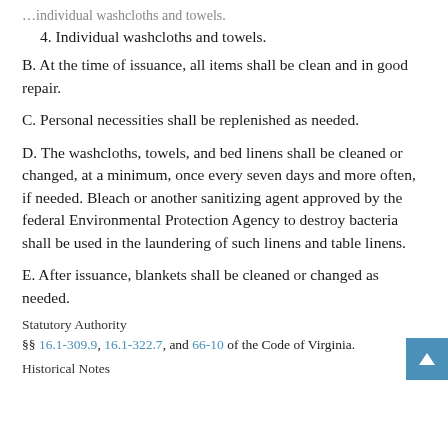4. Individual washcloths and towels.
B. At the time of issuance, all items shall be clean and in good repair.
C. Personal necessities shall be replenished as needed.
D. The washcloths, towels, and bed linens shall be cleaned or changed, at a minimum, once every seven days and more often, if needed. Bleach or another sanitizing agent approved by the federal Environmental Protection Agency to destroy bacteria shall be used in the laundering of such linens and table linens.
E. After issuance, blankets shall be cleaned or changed as needed.
Statutory Authority
§§ 16.1-309.9, 16.1-322.7, and 66-10 of the Code of Virginia.
Historical Notes